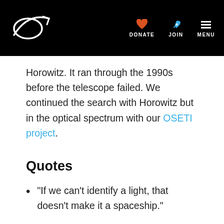DONATE JOIN MENU
Horowitz. It ran through the 1990s before the telescope failed. We continued the search with Horowitz but in the optical spectrum with our OSETI project.
Quotes
"If we can't identify a light, that doesn't make it a spaceship."